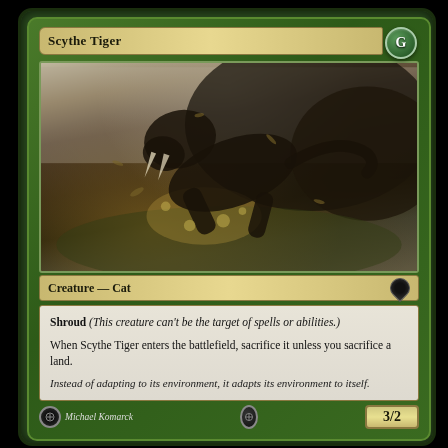Scythe Tiger
[Figure (illustration): A large saber-toothed cat leaping aggressively through a jungle/forest environment, with debris and foliage flying around it. Dark, dramatic fantasy art.]
Creature — Cat
Shroud (This creature can't be the target of spells or abilities.)
When Scythe Tiger enters the battlefield, sacrifice it unless you sacrifice a land.
Instead of adapting to its environment, it adapts its environment to itself.
3/2
Michael Komarck